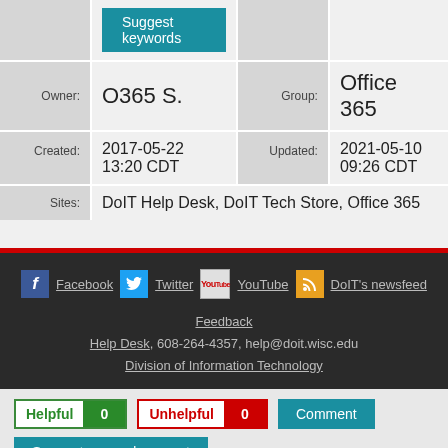|  | Suggest keywords |  |  |
| Owner: | O365 S. | Group: | Office 365 |
| Created: | 2017-05-22 13:20 CDT | Updated: | 2021-05-10 09:26 CDT |
| Sites: | DoIT Help Desk, DoIT Tech Store, Office 365 |  |  |
[Figure (screenshot): Dark footer with social media icons: Facebook, Twitter, YouTube, DoIT's newsfeed (RSS). Links to Feedback, Help Desk 608-264-4357 help@doit.wisc.edu, Division of Information Technology.]
Feedback
Help Desk, 608-264-4357, help@doit.wisc.edu
Division of Information Technology
Helpful 0
Unhelpful 0
Comment
Suggest a new document